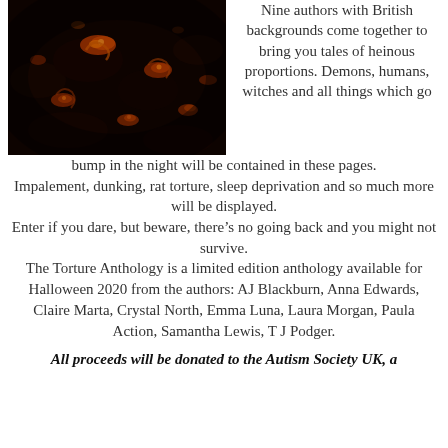[Figure (photo): Dark background image showing glowing embers or burning coals with orange and red highlights against a very dark, almost black surface.]
Nine authors with British backgrounds come together to bring you tales of heinous proportions. Demons, humans, witches and all things which go bump in the night will be contained in these pages. Impalement, dunking, rat torture, sleep deprivation and so much more will be displayed. Enter if you dare, but beware, there’s no going back and you might not survive. The Torture Anthology is a limited edition anthology available for Halloween 2020 from the authors: AJ Blackburn, Anna Edwards, Claire Marta, Crystal North, Emma Luna, Laura Morgan, Paula Action, Samantha Lewis, T J Podger.
All proceeds will be donated to the Autism Society UK, a